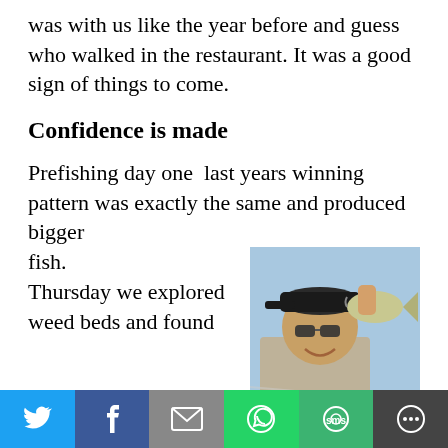was with us like the year before and guess who walked in the restaurant. It was a good sign of things to come.
Confidence is made
Prefishing day one  last years winning pattern was exactly the same and produced bigger fish. Thursday we explored weed beds and found
[Figure (photo): Man holding a large bass fish, wearing sunglasses and a cap, outdoors on a boat with blue sky background.]
Twitter | Facebook | Email | WhatsApp | SMS | More